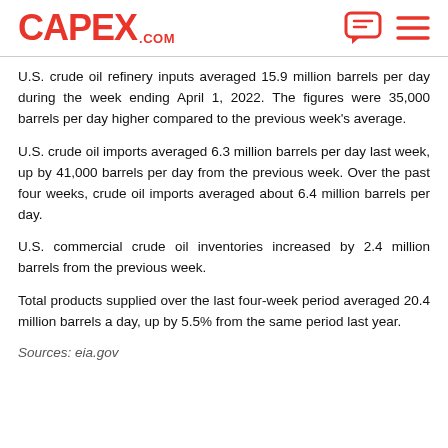CAPEX.COM
U.S. crude oil refinery inputs averaged 15.9 million barrels per day during the week ending April 1, 2022. The figures were 35,000 barrels per day higher compared to the previous week's average.
U.S. crude oil imports averaged 6.3 million barrels per day last week, up by 41,000 barrels per day from the previous week. Over the past four weeks, crude oil imports averaged about 6.4 million barrels per day.
U.S. commercial crude oil inventories increased by 2.4 million barrels from the previous week.
Total products supplied over the last four-week period averaged 20.4 million barrels a day, up by 5.5% from the same period last year.
Sources: eia.gov